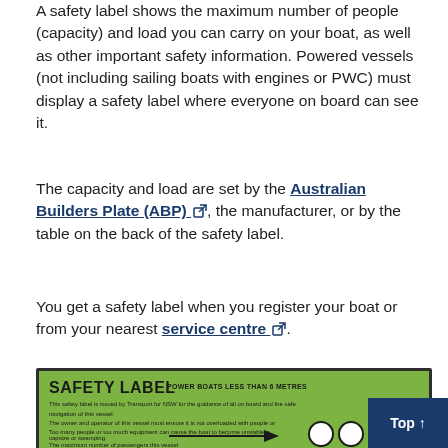A safety label shows the maximum number of people (capacity) and load you can carry on your boat, as well as other important safety information. Powered vessels (not including sailing boats with engines or PWC) must display a safety label where everyone on board can see it.
The capacity and load are set by the Australian Builders Plate (ABP) [external link], the manufacturer, or by the table on the back of the safety label.
You get a safety label when you register your boat or from your nearest service centre [external link].
[Figure (illustration): A green safety label for power boats less than 6 metres, issued by Transport for NSW, showing safety information and two circular fields for passenger capacity.]